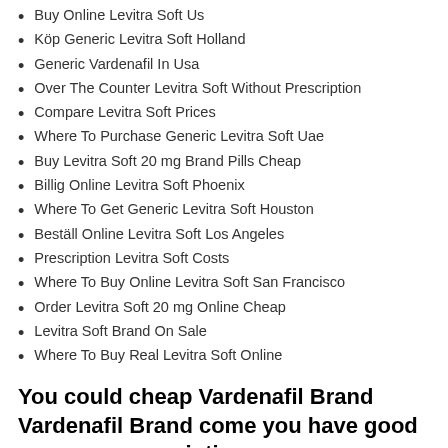Buy Online Levitra Soft Us
Köp Generic Levitra Soft Holland
Generic Vardenafil In Usa
Over The Counter Levitra Soft Without Prescription
Compare Levitra Soft Prices
Where To Purchase Generic Levitra Soft Uae
Buy Levitra Soft 20 mg Brand Pills Cheap
Billig Online Levitra Soft Phoenix
Where To Get Generic Levitra Soft Houston
Beställ Online Levitra Soft Los Angeles
Prescription Levitra Soft Costs
Where To Buy Online Levitra Soft San Francisco
Order Levitra Soft 20 mg Online Cheap
Levitra Soft Brand On Sale
Where To Buy Real Levitra Soft Online
You could cheap Vardenafil Brand Vardenafil Brand come you have good energy some painting